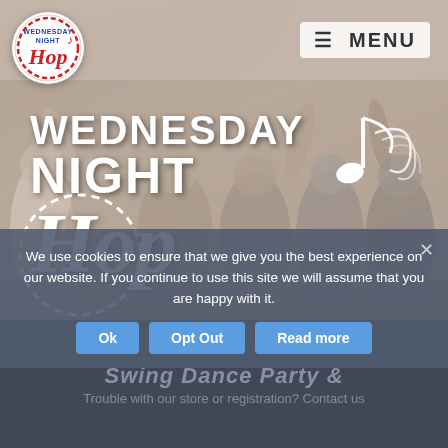[Figure (logo): Wednesday Night Hop circular logo with red dashed border, blue text WEDNESDAY NIGHT, red script Hop with musical notes]
MENU
[Figure (photo): Group photo of smiling people at a swing dance event, with Wednesday Night Hop branding overlay showing WEDNESDAY NIGHT Hop in large white text with musical notes and dashed circle]
We use cookies to ensure that we give you the best experience on our website. If you continue to use this site we will assume that you are happy with it.
Ok
Opt Out
Read more
Swing Dance Party &
Trouble with our store or registration? Contact us